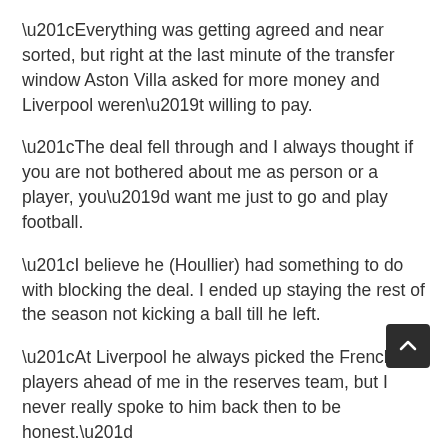“Everything was getting agreed and near sorted, but right at the last minute of the transfer window Aston Villa asked for more money and Liverpool weren’t willing to pay.
“The deal fell through and I always thought if you are not bothered about me as person or a player, you’d want me just to go and play football.
“I believe he (Houllier) had something to do with blocking the deal. I ended up staying the rest of the season not kicking a ball till he left.
“At Liverpool he always picked the French players ahead of me in the reserves team, but I never really spoke to him back then to be honest.”
Fortunately for Warnock, Houllier departed at the end of the season and was replaced by Alex McLeish, who reinstated him to the team. However, it was certainly not the end of his problems in the Midlands.